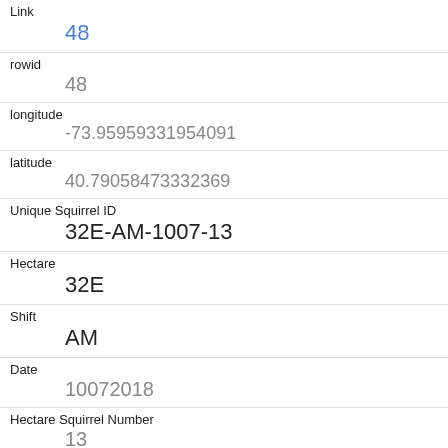| Field | Value |
| --- | --- |
| Link | 48 |
| rowid | 48 |
| longitude | -73.95959331954091 |
| latitude | 40.79058473332369 |
| Unique Squirrel ID | 32E-AM-1007-13 |
| Hectare | 32E |
| Shift | AM |
| Date | 10072018 |
| Hectare Squirrel Number | 13 |
| Age | Adult |
| Primary Fur Color |  |